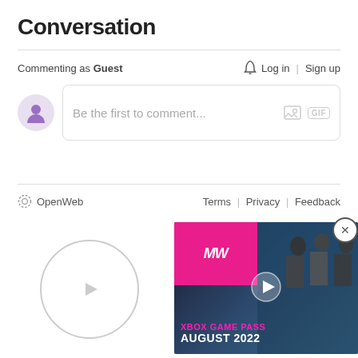Conversation
Commenting as Guest
Log in | Sign up
Be the first to comment...
OpenWeb
Terms | Privacy | Feedback
[Figure (screenshot): Video play button circle (gray outline with triangle play icon)]
[Figure (photo): Xbox Game Pass August 2022 advertisement showing soldiers and MW logo with pink/dark background, with close button and play button overlay]